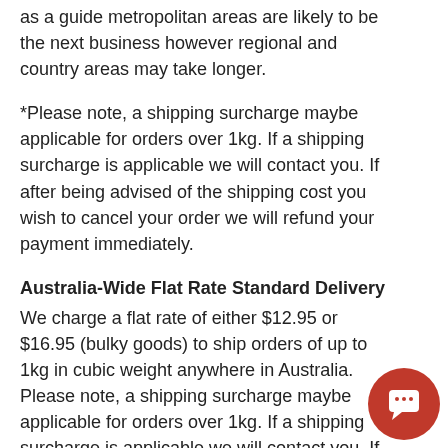as a guide metropolitan areas are likely to be the next business however regional and country areas may take longer.
*Please note, a shipping surcharge maybe applicable for orders over 1kg. If a shipping surcharge is applicable we will contact you. If after being advised of the shipping cost you wish to cancel your order we will refund your payment immediately.
Australia-Wide Flat Rate Standard Delivery
We charge a flat rate of either $12.95 or $16.95 (bulky goods) to ship orders of up to 1kg in cubic weight anywhere in Australia. Please note, a shipping surcharge maybe applicable for orders over 1kg. If a shipping surcharge is applicable we will contact you. If after being advised of the shipping cost you wish to cancel your order we will refund your payment immediately.. This excludes corporate and bulk orders